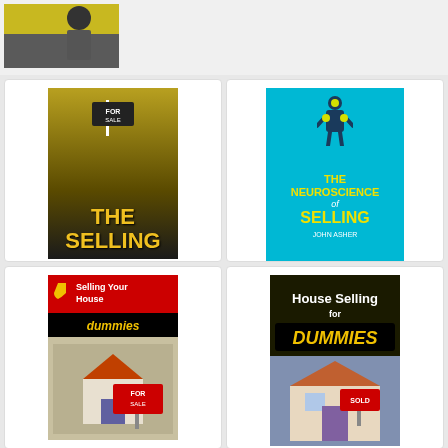[Figure (photo): Partial book/product image at top of page, cropped]
[Figure (photo): Book cover: The Selling - movie poster style with man in front of for sale sign]
The Selling
$4.99
★★★★ (297)
[Figure (photo): Book cover: The Neuroscience of Selling: Proven Sales Secrets to Win - blue cover with human figure graphic by John Asher]
The Neuroscience of Selling: Proven Sales Secrets to Win
$15.31 $17.50
★★★★½ (67)
[Figure (photo): Book cover: Selling Your House For Dummies - red and black cover with for sale sign]
[Figure (photo): Book cover: House Selling For Dummies - yellow and black dummies cover with sold sign on house]